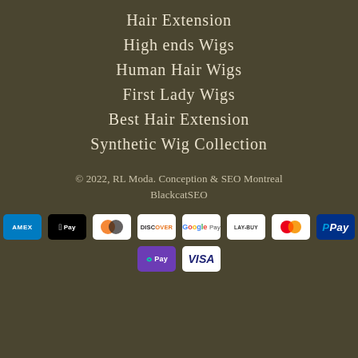Hair Extension
High ends Wigs
Human Hair Wigs
First Lady Wigs
Best Hair Extension
Synthetic Wig Collection
© 2022, RL Moda. Conception & SEO Montreal
BlackcatSEO
[Figure (infographic): Payment method logos: American Express, Apple Pay, Diners Club, Discover, Google Pay, Lay-Buy, Mastercard, PayPal, OPay, Visa]